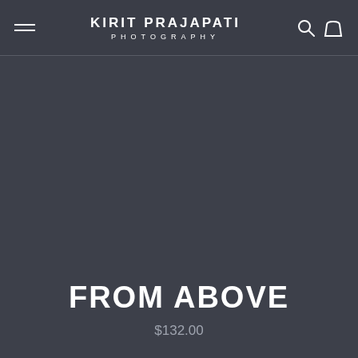KIRIT PRAJAPATI PHOTOGRAPHY
[Figure (photo): Large dark product/photography image area occupying the central portion of the page]
FROM ABOVE
$132.00